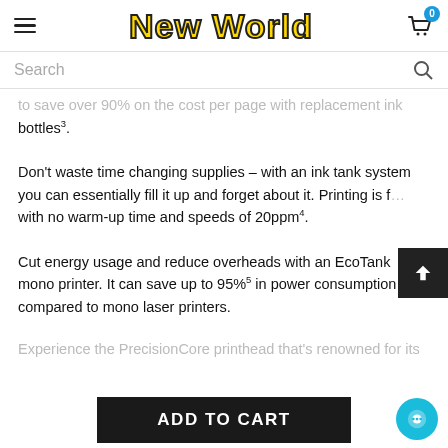New World
Search
to save over 90% on the cost per page with replacement ink bottles³.
Don't waste time changing supplies – with an ink tank system you can essentially fill it up and forget about it. Printing is f… with no warm-up time and speeds of 20ppm⁴.
Cut energy usage and reduce overheads with an EcoTank mono printer. It can save up to 95%⁵ in power consumption compared to mono laser printers.
Experience the PrecisionCore printhead that's renowned for its
ADD TO CART